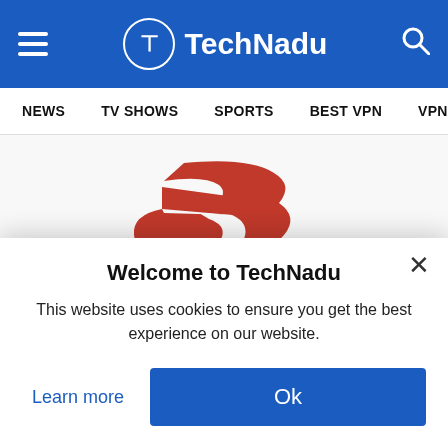TechNadu - Navigation header with hamburger menu, TechNadu logo, and search icon
NEWS   TV SHOWS   SPORTS   BEST VPN   VPN
[Figure (logo): ExpressVPN logo — stylized red lightning bolt / E symbol above the text 'ExpressVPN' in red on a light grey background]
Welcome to TechNadu
This website uses cookies to ensure you get the best experience on our website.
Learn more
Ok